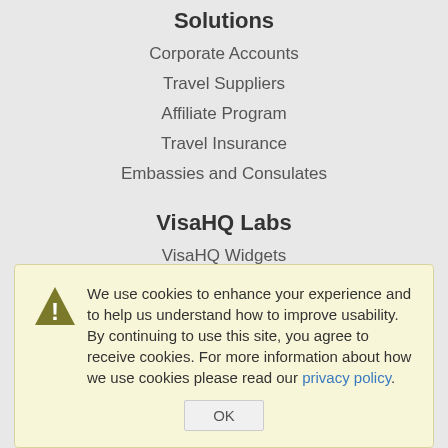Solutions
Corporate Accounts
Travel Suppliers
Affiliate Program
Travel Insurance
Embassies and Consulates
VisaHQ Labs
VisaHQ Widgets
Global Visa Requirements
Map of Visa Requirements
We use cookies to enhance your experience and to help us understand how to improve usability. By continuing to use this site, you agree to receive cookies. For more information about how we use cookies please read our privacy policy.